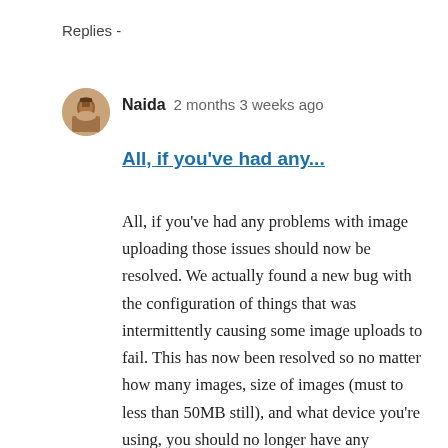Replies -
Naida   2 months 3 weeks ago
All, if you've had any...
All, if you've had any problems with image uploading those issues should now be resolved. We actually found a new bug with the configuration of things that was intermittently causing some image uploads to fail. This has now been resolved so no matter how many images, size of images (must to less than 50MB still), and what device you're using, you should no longer have any problems uploading images.